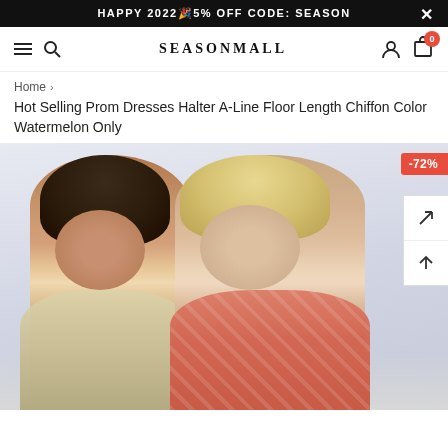HAPPY 2022🎉5% OFF CODE: SEASON
SEASONMALL
Home > Hot Selling Prom Dresses Halter A-Line Floor Length Chiffon Color Watermelon Only
Hot Selling Prom Dresses Halter A-Line Floor Length Chiffon Color Watermelon Only
[Figure (photo): Two women models wearing sparkly prom dresses. Left model wears a pale yellow/silver beaded halter dress, right model wears a watermelon/coral patterned halter dress. Discount badge showing -72% in top right corner.]